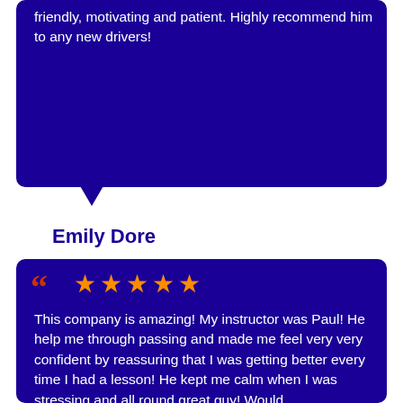friendly, motivating and patient. Highly recommend him to any new drivers!
Emily Dore
This company is amazing! My instructor was Paul! He help me through passing and made me feel very very confident by reassuring that I was getting better every time I had a lesson! He kept me calm when I was stressing and all round great guy! Would…